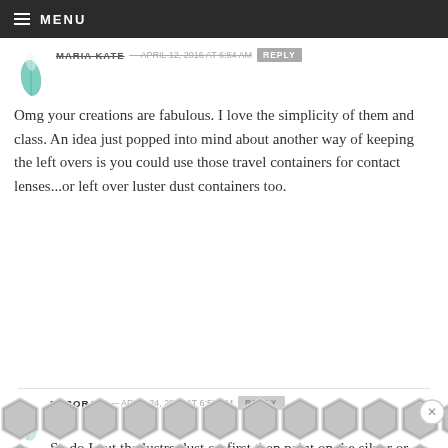MENU
MARIA KATE — APRIL 12, 2016 AT 6:54 AM [REPLY]
Omg your creations are fabulous. I love the simplicity of them and class. An idea just popped into mind about another way of keeping the left overs is you could use those travel containers for contact lenses...or left over luster dust containers too.
DEBORAH — APRIL 24, 2016 AT 6:59 PM [REPLY]
Hi
So do I put the lustre dust on first then paint on the silver or gold?
[Figure (illustration): Decorative hexagonal pattern ad banner at the bottom of the page with a close button]